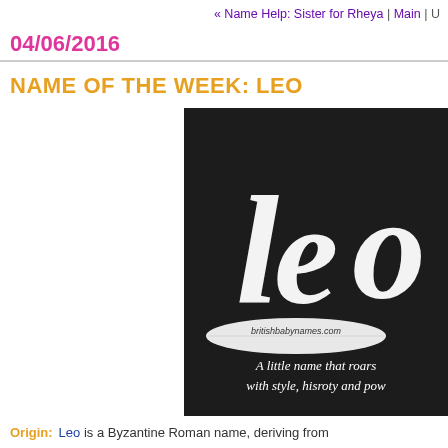« Name Help: Sister for Rheya | Main | U
04/06/2016
NAME OF THE WEEK: LEO
[Figure (photo): Dark chalkboard-style image with the name 'Leo' in large white decorative lettering, britishbabynames.com logo, and text reading 'A little name that roars with style, hisroty and pow']
Origin: Leo is a Byzantine Roman name, deriving from